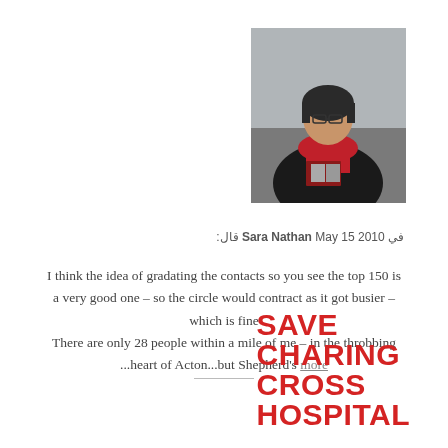[Figure (photo): Photo of Sara Nathan, a woman wearing glasses and a red scarf, seated and holding books/cards, in an indoor setting.]
في Sara Nathan May 15 2010 قال:
I think the idea of gradating the contacts so you see the top 150 is a very good one – so the circle would contract as it got busier – which is fine
There are only 28 people within a mile of me – in the throbbing ...heart of Acton...but Shepherd's more
[Figure (logo): SAVE CHARING CROSS HOSPITAL logo in bold red text]